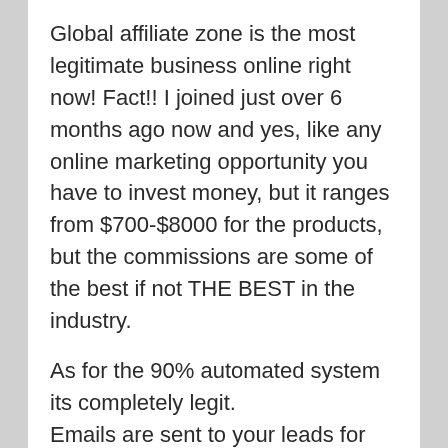Global affiliate zone is the most legitimate business online right now! Fact!! I joined just over 6 months ago now and yes, like any online marketing opportunity you have to invest money, but it ranges from $700-$8000 for the products, but the commissions are some of the best if not THE BEST in the industry.

As for the 90% automated system its completely legit.
Emails are sent to your leads for you.
Capture pages are made for you.
Coaching calls are made for you.